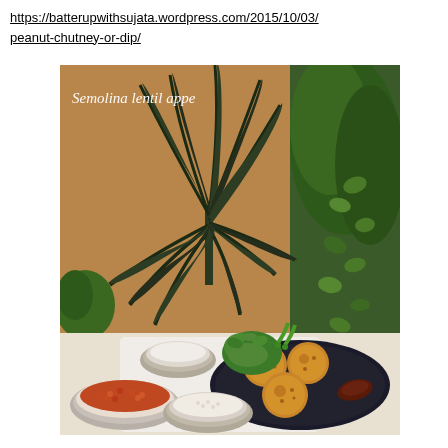https://batterupwithsujata.wordpress.com/2015/10/03/peanut-chutney-or-dip/
[Figure (photo): Photo of semolina lentil appe ingredients and finished appe on a black plate, set against a background of green indoor plants. Ingredients include bowls of lentils, semolina, fresh herbs, green chilies, and a chutney on the plate beside the golden-brown appe.]